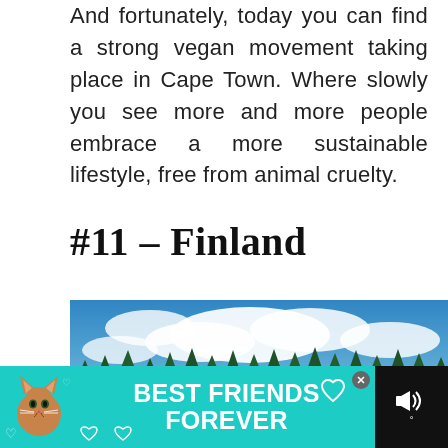And fortunately, today you can find a strong vegan movement taking place in Cape Town. Where slowly you see more and more people embrace a more sustainable lifestyle, free from animal cruelty.
#11 – Finland
[Figure (photo): Landscape photo of a Finnish lake surrounded by green forest with a bright blue sky and fluffy white clouds.]
[Figure (screenshot): Advertisement bar at the bottom: 'BEST FRIENDS FOREVER' with a cat illustration on a teal background, with a mute button area on the right.]